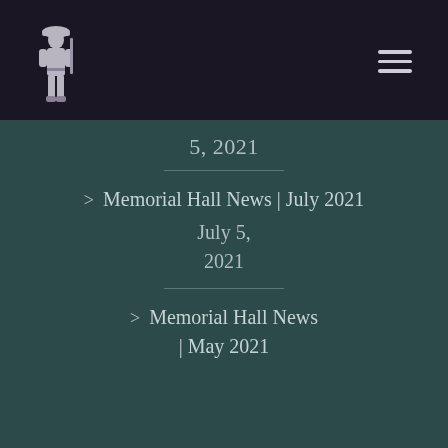[Figure (logo): WWI soldier illustration logo in light gray on dark purple background]
5, 2021
> Memorial Hall News | July 2021 July 5, 2021
> Memorial Hall News | May 2021